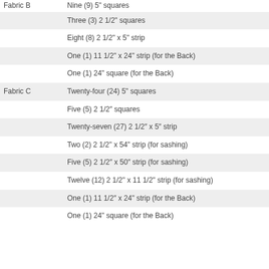| Fabric | Cut |
| --- | --- |
| Fabric B | Nine (9) 5" squares |
|  | Three (3) 2 1/2" squares |
|  | Eight (8) 2 1/2" x 5" strip |
|  | One (1) 11 1/2" x 24" strip (for the Back) |
|  | One (1) 24" square (for the Back) |
| Fabric C | Twenty-four (24) 5" squares |
|  | Five (5) 2 1/2″ squares |
|  | Twenty-seven (27) 2 1/2″ x 5″ strip |
|  | Two (2) 2 1/2" x 54" strip (for sashing) |
|  | Five (5) 2 1/2″ x 50″ strip (for sashing) |
|  | Twelve (12) 2 1/2" x 11 1/2" strip (for sashing) |
|  | One (1) 11 1/2" x 24" strip (for the Back) |
|  | One (1) 24" square (for the Back) |